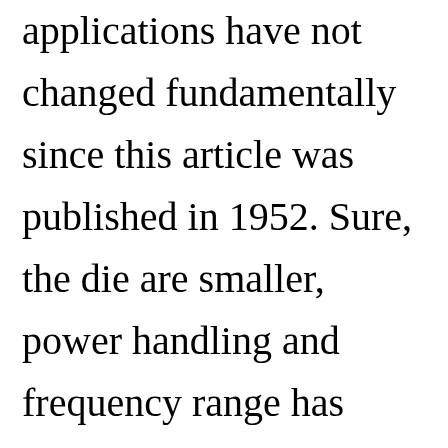applications have not changed fundamentally since this article was published in 1952. Sure, the die are smaller, power handling and frequency range has increased, package styles are greatly expanded, and the cost per unit way down, but if you are looking for some basic diode information, you will find it here in this 4th installment of a